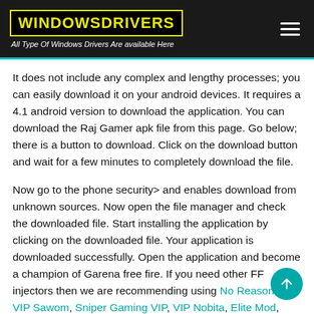WINDOWSDRIVERS — All Type Of Windows Drivers Are available Here
It does not include any complex and lengthy processes; you can easily download it on your android devices. It requires a 4.1 android version to download the application. You can download the Raj Gamer apk file from this page. Go below; there is a button to download. Click on the download button and wait for a few minutes to completely download the file.
Now go to the phone security> and enables download from unknown sources. Now open the file manager and check the downloaded file. Start installing the application by clicking on the downloaded file. Your application is downloaded successfully. Open the application and become a champion of Garena free fire. If you need other FF injectors then we are recommending using No Reason VIP, VIP Sawom, Sniper Gaming VIP, VIP Nobita, Elite Mod, H4X Mod Menu, FFH4X, Akahari Extra FF, and Bellara